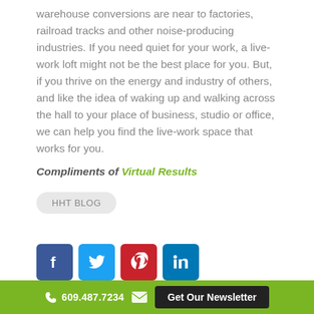warehouse conversions are near to factories, railroad tracks and other noise-producing industries. If you need quiet for your work, a live-work loft might not be the best place for you. But, if you thrive on the energy and industry of others, and like the idea of waking up and walking across the hall to your place of business, studio or office, we can help you find the live-work space that works for you.
Compliments of Virtual Results
HHT BLOG
[Figure (other): Social media icons: Facebook, Twitter, Pinterest, LinkedIn]
609.487.7234  Get Our Newsletter